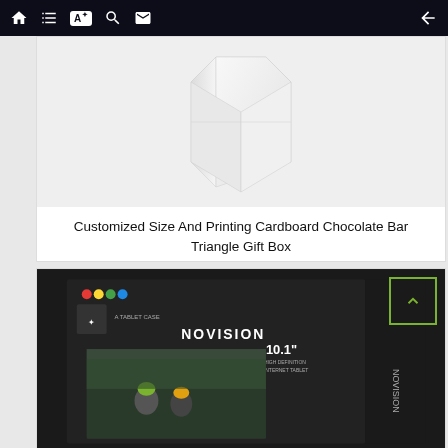Navigation bar with home, list, translate, search, mail icons and back arrow
[Figure (photo): White cardboard triangle gift box product photo on light gray background]
Customized Size And Printing Cardboard Chocolate Bar Triangle Gift Box
[Figure (photo): Novision 10.1 inch tablet case product box with cyclists image on dark background]